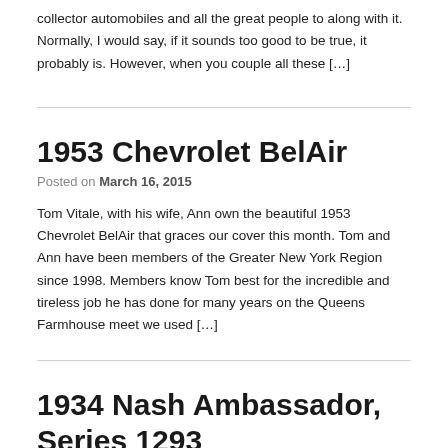collector automobiles and all the great people to along with it. Normally, I would say, if it sounds too good to be true, it probably is. However, when you couple all these […]
1953 Chevrolet BelAir
Posted on March 16, 2015
Tom Vitale, with his wife, Ann own the beautiful 1953 Chevrolet BelAir that graces our cover this month. Tom and Ann have been members of the Greater New York Region since 1998. Members know Tom best for the incredible and tireless job he has done for many years on the Queens Farmhouse meet we used […]
1934 Nash Ambassador, Series 1293
Posted on February 6, 2015